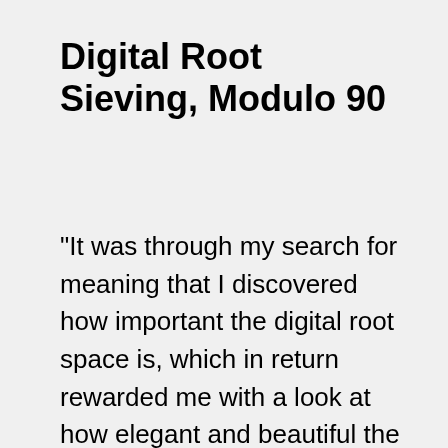Digital Root Sieving, Modulo 90
"It was through my search for meaning that I discovered how important the digital root space is, which in return rewarded me with a look at how elegant and beautiful the world really is." – Talal Ghannam, Ph.D., The Mystery of Numbers Revealed Through Their Digital Root…